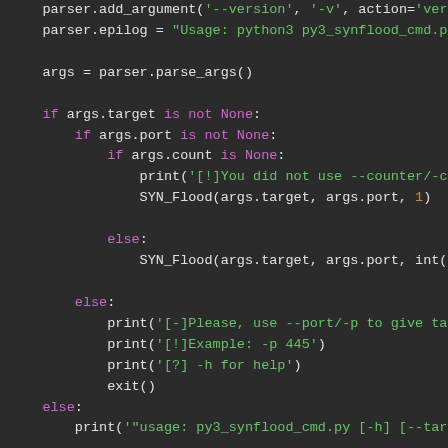[Figure (screenshot): Python source code snippet showing argument parsing and SYN flood logic with syntax highlighting on dark background. Code includes parser.add_argument, parser.epilog, args = parser.parse_args(), if/else blocks checking args.target, args.port, args.count, calls to SYN_Flood and print statements.]